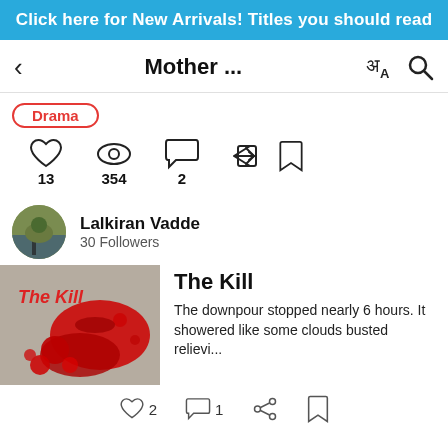Click here for New Arrivals! Titles you should read
Mother ...
Drama
13  354  2
Lalkiran Vadde
30 Followers
[Figure (illustration): Book cover for 'The Kill' showing red blood splatter on a gray/white background with red title text]
The Kill
The downpour stopped nearly 6 hours. It showered like some clouds busted relievi...
2  1